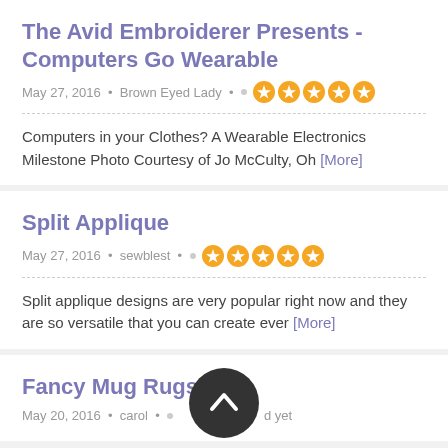The Avid Embroiderer Presents - Computers Go Wearable
May 27, 2016 • Brown Eyed Lady • •  [5 stars]
Computers in your Clothes? A Wearable Electronics Milestone Photo Courtesy of Jo McCulty, Oh [More]
Split Applique
May 27, 2016 • sewblest • •  [5 stars]
Split applique designs are very popular right now and they are so versatile that you can create ever [More]
Fancy Mug Rugs
May 20, 2016 • carol • •  [not rated yet]